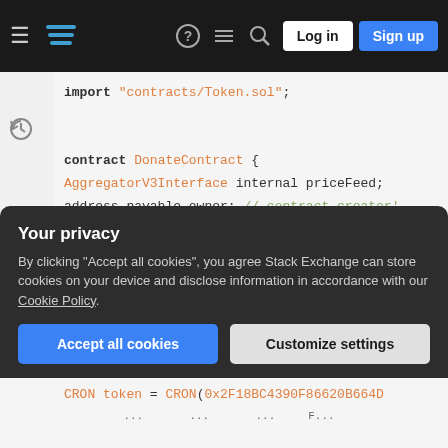Stack Exchange navigation bar with hamburger menu, logo, help, chat, search icons, Log in and Sign up buttons
[Figure (screenshot): Code editor screenshot showing Solidity smart contract code with syntax highlighting. Code includes: import "contracts/Token.sol"; contract DonateContract { AggregatorV3Interface internal priceFeed; address payable owner; // contract creator' ... constructor() { priceFeed = AggregatorV3Interface(0x2514895c72f50D8bd4B ... owner = payable(msg.sender); // setting the]
Your privacy
By clicking "Accept all cookies", you agree Stack Exchange can store cookies on your device and disclose information in accordance with our Cookie Policy.
Accept all cookies
Customize settings
[Figure (screenshot): Partially visible code line: CRON token = CRON(0x2F18BC4390F86620B664D ...]